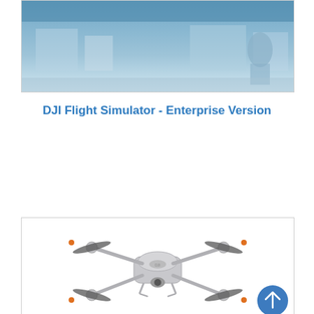[Figure (photo): Top portion of a DJI Flight Simulator screenshot showing a blue-tinted training scene with a person in the background]
DJI Flight Simulator - Enterprise Version
[Figure (photo): DJI drone (silver/gray quadcopter, likely DJI Air 2 or similar) photographed from the front, showing four propeller arms with orange tips, on a white background. A blue circular scroll-to-top button is visible in the lower right.]